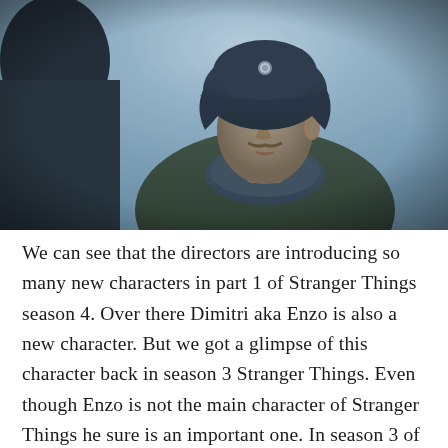[Figure (photo): A man wearing a dark fur ushanka hat with a small badge/star, looking slightly open-mouthed, wearing a dark military-style jacket with a fur collar. The scene is outdoors in cold, overcast bluish-grey lighting. Another person in a dark hat is partially visible on the left edge.]
We can see that the directors are introducing so many new characters in part 1 of Stranger Things season 4. Over there Dimitri aka Enzo is also a new character. But we got a glimpse of this character back in season 3 Stranger Things. Even though Enzo is not the main character of Stranger Things he sure is an important one. In season 3 of Stranger Things, we got a hint that